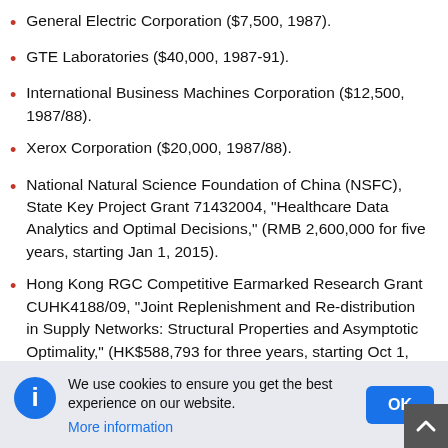General Electric Corporation ($7,500, 1987).
GTE Laboratories ($40,000, 1987-91).
International Business Machines Corporation ($12,500, 1987/88).
Xerox Corporation ($20,000, 1987/88).
National Natural Science Foundation of China (NSFC), State Key Project Grant 71432004, "Healthcare Data Analytics and Optimal Decisions," (RMB 2,600,000 for five years, starting Jan 1, 2015).
Hong Kong RGC Competitive Earmarked Research Grant CUHK4188/09, "Joint Replenishment and Re-distribution in Supply Networks: Structural Properties and Asymptotic Optimality," (HK$588,793 for three years, starting Oct 1, 2009).
Hong Kong RGC Competitive Earmarked Research Grant CUHK4182/07, "Dynamic Resource Control: Limiting Regimes and Asymptotic Optimality," (with Hengqing Ye; HK$684,000 for
We use cookies to ensure you get the best experience on our website.
More information